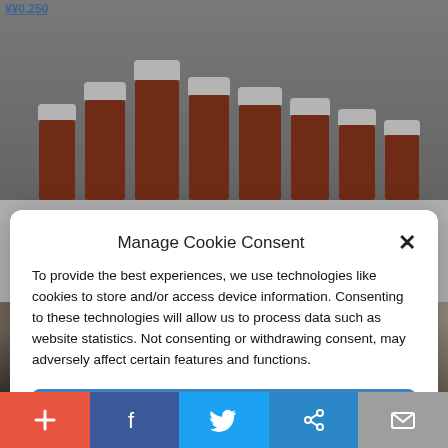[Figure (photo): Photo of multiple orange prescription medicine bottles with white caps, viewed from above/side against a grey background]
[Figure (photo): Photo showing faces of political figures including Biden, a woman, and Trump cropped at forehead/eye level]
Manage Cookie Consent
To provide the best experiences, we use technologies like cookies to store and/or access device information. Consenting to these technologies will allow us to process data such as website statistics. Not consenting or withdrawing consent, may adversely affect certain features and functions.
Accept
Cookie Policy   Privacy Policy